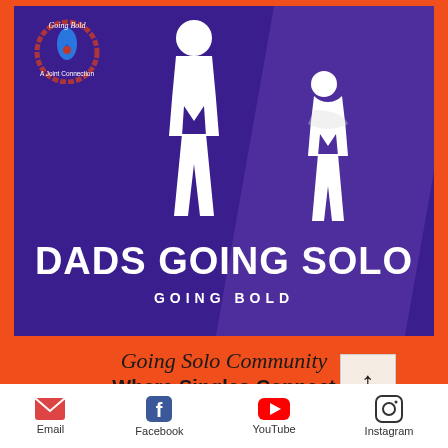[Figure (illustration): Promotional banner for 'Dads Going Solo - Going Bold' showing white silhouettes of an adult and child on a purple background with orange border, and a circular logo in the top-left.]
Going Solo Community
Where Singles Connect
An "interactive social support Singles Connection Network.
[Figure (infographic): Social media links bar with Email, Facebook, YouTube, and Instagram icons at the bottom of the page.]